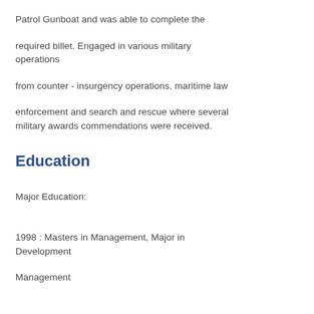Patrol Gunboat and was able to complete the
required billet. Engaged in various military operations
from counter - insurgency operations, maritime law
enforcement and search and rescue where several military awards commendations were received.
Education
Major Education:
1998 : Masters in Management, Major in Development
Management